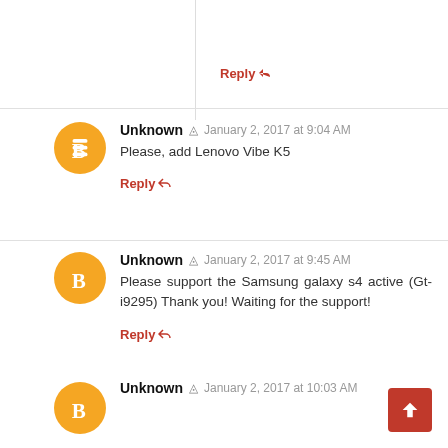Reply ↩
Unknown  January 2, 2017 at 9:04 AM
Please, add Lenovo Vibe K5
Reply ↩
Unknown  January 2, 2017 at 9:45 AM
Please support the Samsung galaxy s4 active (Gt-i9295) Thank you! Waiting for the support!
Reply ↩
Unknown  January 2, 2017 at 10:03 AM
I am using Zuk Z1 (ham) on cm 12.1;
How my zuk have lineage rom?
Officially or unofficially?
Can i get ota update? Else i have to manually? Please tell..
Reply ↩